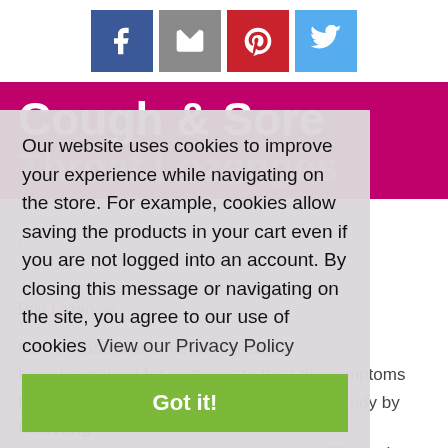[Figure (infographic): Four social media share icons in a row: Facebook (blue), Email/mail (gray), Pinterest (red), Twitter (blue)]
Cough & Sore Throat Lozenges
Our website uses cookies to improve your experience while navigating on the store. For example, cookies allow saving the products in your cart even if you are not logged into an account. By closing this message or navigating on the site, you agree to our use of cookies  View our Privacy Policy
Got it!
Products ... Many natural and herbal remedies have been used for centuries to treat the symptoms of the common cold.
For homemade lozenges, just make hard candy by following either the stove-top or microwave recipe. Flavor the candy with one of the flavoring combinations suggested below or